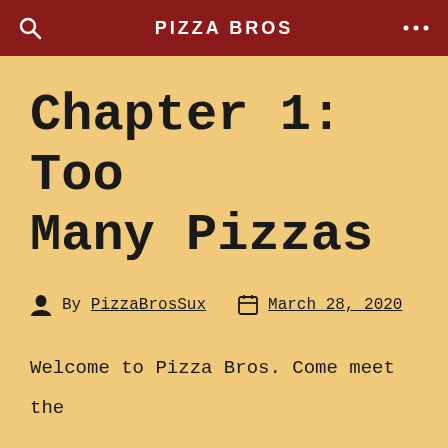PIZZA BROS
Chapter 1: Too Many Pizzas
By PizzaBrosSux  March 28, 2020
Welcome to Pizza Bros. Come meet the Pizza Bros crew, and get familiar with their world!